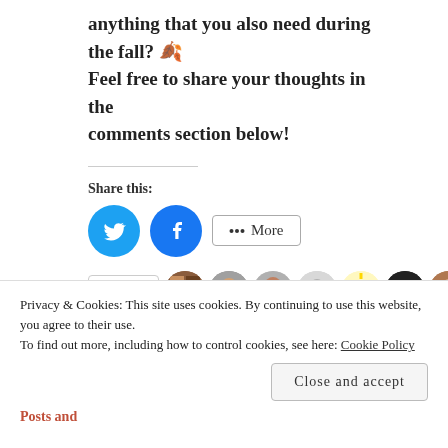anything that you also need during the fall? 🍂 Feel free to share your thoughts in the comments section below!
Share this:
[Figure (infographic): Twitter and Facebook share buttons plus a More button]
[Figure (infographic): Like button with star icon and row of blogger avatar photos]
205 bloggers like this.
Related
Privacy & Cookies: This site uses cookies. By continuing to use this website, you agree to their use. To find out more, including how to control cookies, see here: Cookie Policy
Close and accept
Posts and